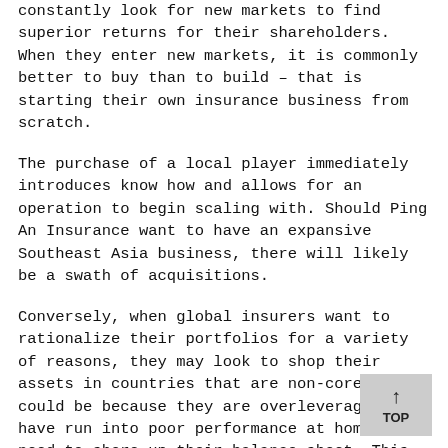constantly look for new markets to find superior returns for their shareholders. When they enter new markets, it is commonly better to buy than to build – that is starting their own insurance business from scratch.
The purchase of a local player immediately introduces know how and allows for an operation to begin scaling with. Should Ping An Insurance want to have an expansive Southeast Asia business, there will likely be a swath of acquisitions.
Conversely, when global insurers want to rationalize their portfolios for a variety of reasons, they may look to shop their assets in countries that are non-core. This could be because they are overleveraged and have run into poor performance at home and need to shore up their balance sheet. This could also be because the insurance market in a foreign country has been tough to crack for them and they have been unprofitable and so looking to salvage their investment.